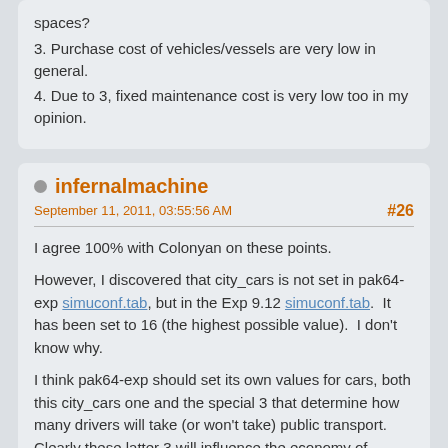spaces?
3. Purchase cost of vehicles/vessels are very low in general.
4. Due to 3, fixed maintenance cost is very low too in my opinion.
infernalmachine
September 11, 2011, 03:55:56 AM
#26
I agree 100% with Colonyan on these points.
However, I discovered that city_cars is not set in pak64-exp simuconf.tab, but in the Exp 9.12 simuconf.tab.  It has been set to 16 (the highest possible value).  I don't know why.
I think pak64-exp should set its own values for cars, both this city_cars one and the special 3 that determine how many drivers will take (or won't take) public transport. Clearly these latter 3 will influence the economy of passenger travel, while the first determines whether road vehicles are feasible to use.
I usually play pak128.open, and the low vehicle prices in pak64.exp were a real shock.